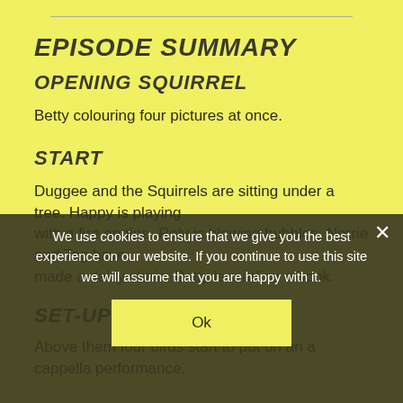EPISODE SUMMARY
OPENING SQUIRREL
Betty colouring four pictures at once.
START
Duggee and the Squirrels are sitting under a tree. Happy is playing with a fire engine. Roly is blowing bubbles. Norrie and Tag have made a daisy chain. Betty is reading a book.
SET-UP
Above them four birds start to put on an a cappella performance.
We use cookies to ensure that we give you the best experience on our website. If you continue to use this site we will assume that you are happy with it.